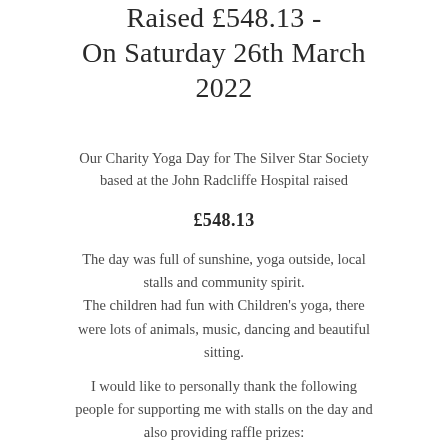Raised £548.13 - On Saturday 26th March 2022
Our Charity Yoga Day for The Silver Star Society based at the John Radcliffe Hospital raised £548.13
The day was full of sunshine, yoga outside, local stalls and community spirit. The children had fun with Children's yoga, there were lots of animals, music, dancing and beautiful sitting.
I would like to personally thank the following people for supporting me with stalls on the day and also providing raffle prizes: